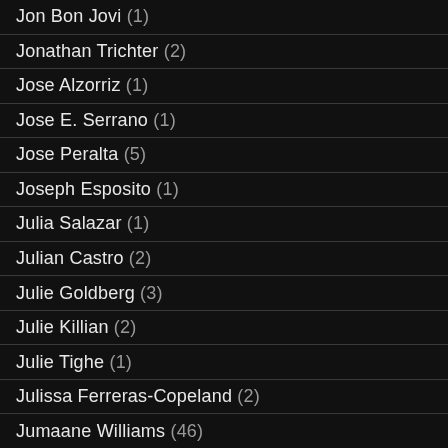Jon Bon Jovi (1)
Jonathan Trichter (2)
Jose Alzorriz (1)
Jose E. Serrano (1)
Jose Peralta (5)
Joseph Esposito (1)
Julia Salazar (1)
Julian Castro (2)
Julie Goldberg (3)
Julie Killian (2)
Julie Tighe (1)
Julissa Ferreras-Copeland (2)
Jumaane Williams (46)